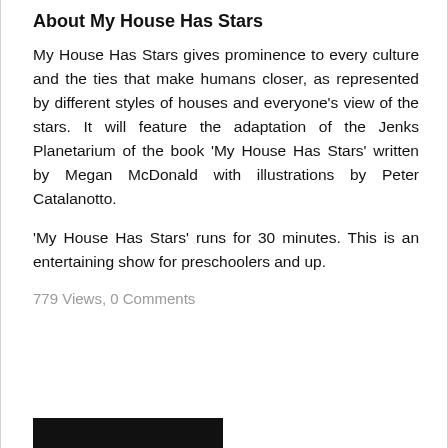About My House Has Stars
My House Has Stars gives prominence to every culture and the ties that make humans closer, as represented by different styles of houses and everyone's view of the stars. It will feature the adaptation of the Jenks Planetarium of the book 'My House Has Stars' written by Megan McDonald with illustrations by Peter Catalanotto.
'My House Has Stars' runs for 30 minutes. This is an entertaining show for preschoolers and up.
779 Views, 0 Comments
[Figure (other): Black bar/button at the bottom of the content area]